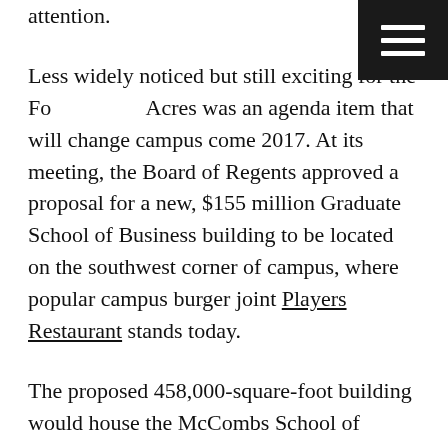attention.
[Figure (other): Black hamburger menu icon button in top-right corner with three white horizontal lines on black background]
Less widely noticed but still exciting for the Forty Acres was an agenda item that will change campus come 2017. At its meeting, the Board of Regents approved a proposal for a new, $155 million Graduate School of Business building to be located on the southwest corner of campus, where popular campus burger joint Players Restaurant stands today.
The proposed 458,000-square-foot building would house the McCombs School of Business MBA Program and expand conference space for the neighboring AT&T Executive Education and Conference Center. The remaining land would be